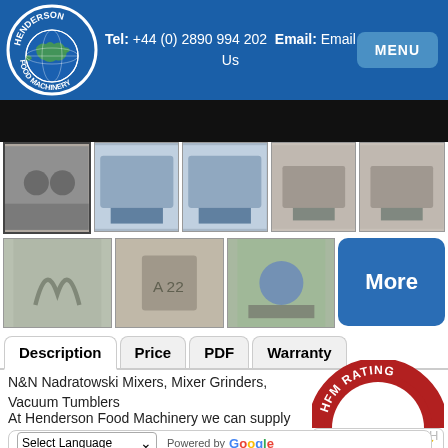[Figure (logo): Henderson Food Machinery logo - circular blue globe with white text]
Tel: +44 (0) 2890 994 202  Email: Email Us
[Figure (screenshot): Black banner - main product image area]
[Figure (photo): Row 1: 5 thumbnail images of food machinery equipment]
[Figure (photo): Row 2: 3 thumbnail images of food machinery equipment and a More button]
Description  Price  PDF  Warranty
N&N Nadratowski Mixers, Mixer Grinders, Vacuum Tumblers
[Figure (infographic): HFM Rating badge with 5 stars]
At Henderson Food Machinery we can supply a wide range of Mixers, Mixer Grinders, Vacuum Tumblers with our partner H...